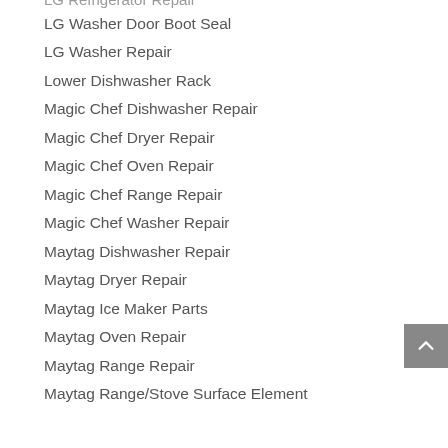LG Refrigerator Repair
LG Washer Door Boot Seal
LG Washer Repair
Lower Dishwasher Rack
Magic Chef Dishwasher Repair
Magic Chef Dryer Repair
Magic Chef Oven Repair
Magic Chef Range Repair
Magic Chef Washer Repair
Maytag Dishwasher Repair
Maytag Dryer Repair
Maytag Ice Maker Parts
Maytag Oven Repair
Maytag Range Repair
Maytag Range/Stove Surface Element